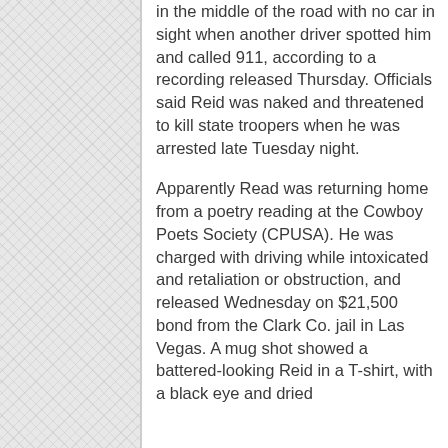in the middle of the road with no car in sight when another driver spotted him and called 911, according to a recording released Thursday. Officials said Reid was naked and threatened to kill state troopers when he was arrested late Tuesday night.
Apparently Read was returning home from a poetry reading at the Cowboy Poets Society (CPUSA). He was charged with driving while intoxicated and retaliation or obstruction, and released Wednesday on $21,500 bond from the Clark Co. jail in Las Vegas. A mug shot showed a battered-looking Reid in a T-shirt, with a black eye and dried